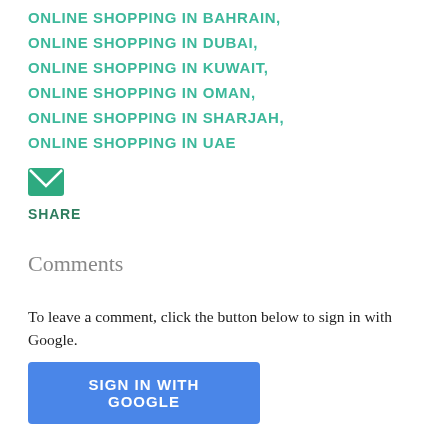ONLINE SHOPPING IN BAHRAIN,
ONLINE SHOPPING IN DUBAI,
ONLINE SHOPPING IN KUWAIT,
ONLINE SHOPPING IN OMAN,
ONLINE SHOPPING IN SHARJAH,
ONLINE SHOPPING IN UAE
[Figure (illustration): Green envelope/email icon]
SHARE
Comments
To leave a comment, click the button below to sign in with Google.
SIGN IN WITH GOOGLE